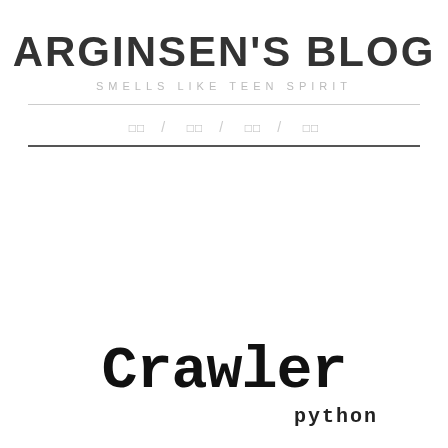ARGINSEN'S BLOG
SMELLS LIKE TEEN SPIRIT
□□ / □□ / □□ / □□
Crawler
python